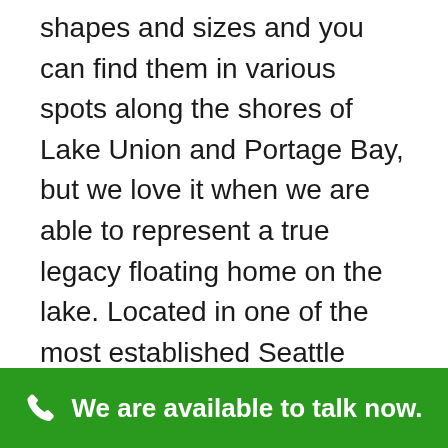shapes and sizes and you can find them in various spots along the shores of Lake Union and Portage Bay, but we love it when we are able to represent a true legacy floating home on the lake. Located in one of the most established Seattle floating homes coop docks on Lake Union, this vibrant spot will relax and excite you every time you come home.
From the listing of this
We are available to talk now.